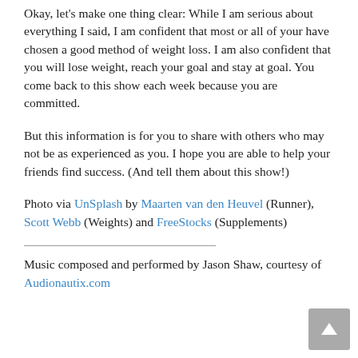Okay, let's make one thing clear: While I am serious about everything I said, I am confident that most or all of you have chosen a good method of weight loss. I am also confident that you will lose weight, reach your goal and stay at goal. You come back to this show each week because you are committed.
But this information is for you to share with others who may not be as experienced as you. I hope you are able to help your friends find success. (And tell them about this show!)
Photo via UnSplash by Maarten van den Heuvel (Runner), Scott Webb (Weights) and FreeStocks (Supplements)
Music composed and performed by Jason Shaw, courtesy of Audionautix.com